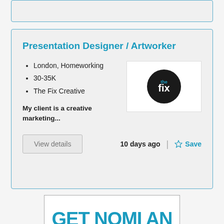[Figure (other): Partial top card with blue border (truncated from previous content)]
Presentation Designer / Artworker
London, Homeworking
30-35K
The Fix Creative
[Figure (logo): The Fix Creative logo - black circle with 'the fix' text in white]
My client is a creative marketing...
View details
10 days ago
Save
[Figure (other): Partial bottom advertisement card with large teal text partially visible]